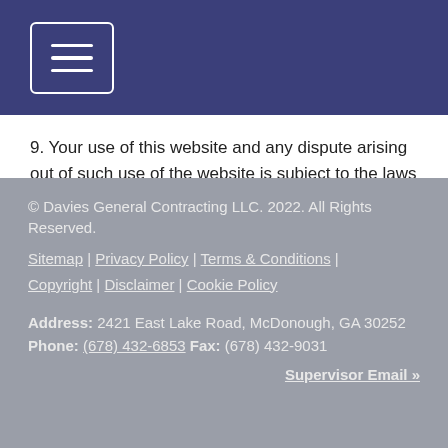[Navigation menu button]
9. Your use of this website and any dispute arising out of such use of the website is subject to the laws of the United States of America.
© Davies General Contracting LLC. 2022. All Rights Reserved.
Sitemap | Privacy Policy | Terms & Conditions | Copyright | Disclaimer | Cookie Policy
Address: 2421 East Lake Road, McDonough, GA 30252 Phone: (678) 432-6853 Fax: (678) 432-9031
Supervisor Email »